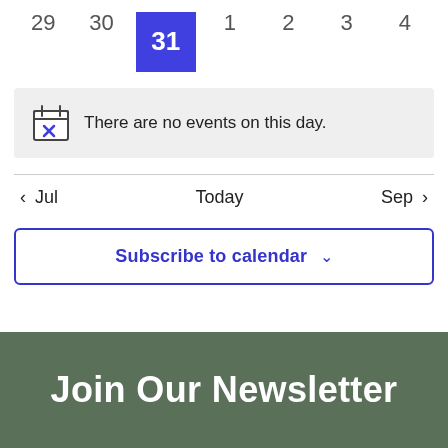[Figure (other): Calendar week row showing days 29, 30, 31 (highlighted in blue), 1, 2, 3, 4]
There are no events on this day.
< Jul   Today   Sep >
Subscribe to calendar ∨
Join Our Newsletter